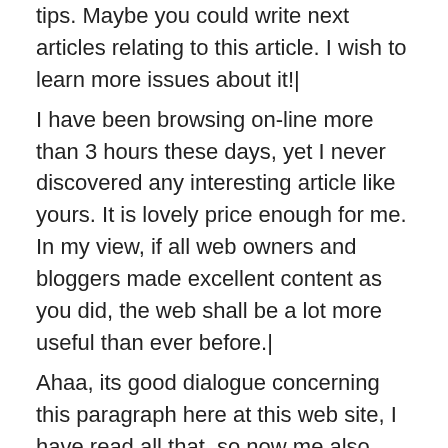tips. Maybe you could write next articles relating to this article. I wish to learn more issues about it!|
I have been browsing on-line more than 3 hours these days, yet I never discovered any interesting article like yours. It is lovely price enough for me. In my view, if all web owners and bloggers made excellent content as you did, the web shall be a lot more useful than ever before.|
Ahaa, its good dialogue concerning this paragraph here at this web site, I have read all that, so now me also commenting at this place.|
I am sure this paragraph has touched all the internet users, its really really fastidious article on building up new web site.|
Wow, this piece of writing is good, my younger sister is analyzing these kinds of this...